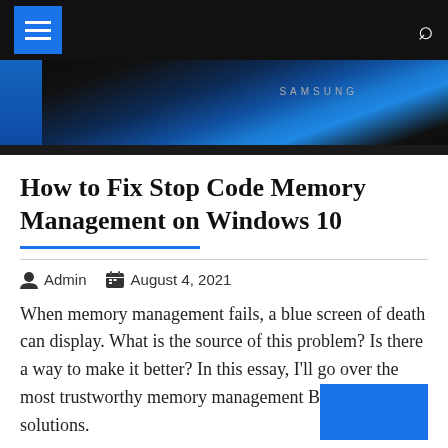Navigation bar with menu and search icons
[Figure (photo): Samsung laptop with blue screen visible, dark background]
How to Fix Stop Code Memory Management on Windows 10
Admin  August 4, 2021
When memory management fails, a blue screen of death can display. What is the source of this problem? Is there a way to make it better? In this essay, I'll go over the most trustworthy memory management BSOD solutions.
Table of Contents [hide]